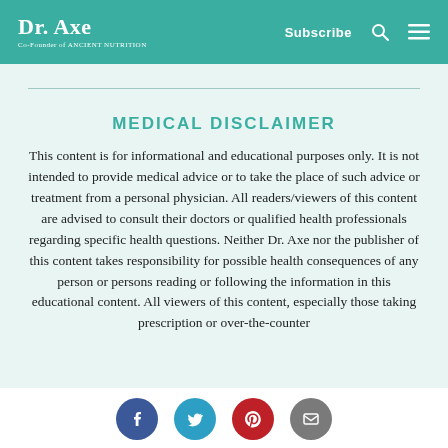Dr. Axe — Co-Founder of Ancient Nutrition | Subscribe
MEDICAL DISCLAIMER
This content is for informational and educational purposes only. It is not intended to provide medical advice or to take the place of such advice or treatment from a personal physician. All readers/viewers of this content are advised to consult their doctors or qualified health professionals regarding specific health questions. Neither Dr. Axe nor the publisher of this content takes responsibility for possible health consequences of any person or persons reading or following the information in this educational content. All viewers of this content, especially those taking prescription or over-the-counter
[Figure (other): Social sharing icons: Facebook (blue circle), Twitter (teal circle), Pinterest (red circle), Email (grey circle)]